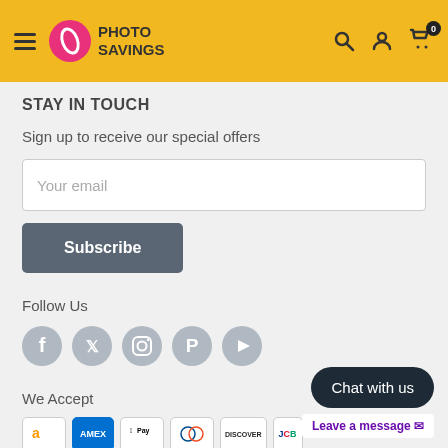[Figure (logo): Photo Savings logo with hamburger menu and navigation icons on yellow header]
STAY IN TOUCH
Sign up to receive our special offers
[Figure (screenshot): Email input field with placeholder 'Your email']
[Figure (screenshot): Subscribe button]
Follow Us
[Figure (infographic): Social media icons: Facebook, Twitter, Instagram, Pinterest, YouTube]
We Accept
[Figure (infographic): Payment method icons: Amazon, Amex, Apple Pay, Diners Club, Discover, JCB]
[Figure (screenshot): Chat widget with 'Chat with us' button and 'Leave a message' option]